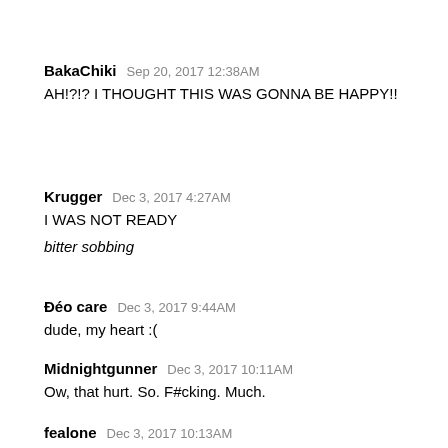BakaChiki  Sep 20, 2017 12:38AM
AH!?!? I THOUGHT THIS WAS GONNA BE HAPPY!!
Krugger  Dec 3, 2017 4:27AM
I WAS NOT READY
bitter sobbing
Đéo care  Dec 3, 2017 9:44AM
dude, my heart :(
Midnightgunner  Dec 3, 2017 10:11AM
Ow, that hurt. So. F#cking. Much.
fealone  Dec 3, 2017 10:13AM